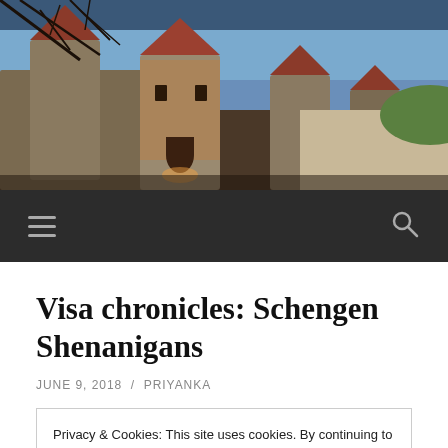[Figure (photo): Header photo showing medieval stone towers with red-tiled conical roofs in Tallinn old town, bare tree branches visible in upper left, evening/dusk lighting]
≡   🔍
Visa chronicles: Schengen Shenanigans
JUNE 9, 2018  /  PRIYANKA
Privacy & Cookies: This site uses cookies. By continuing to use this website, you agree to their use.
To find out more, including how to control cookies, see here: Cookie Policy
Close and accept